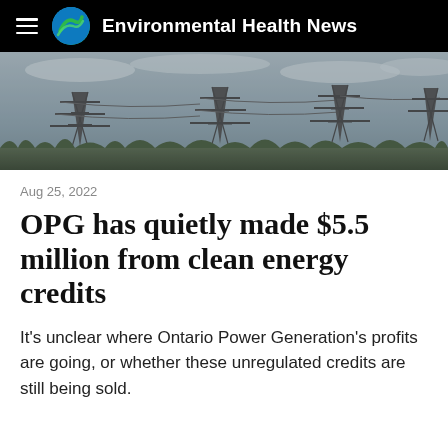Environmental Health News
[Figure (photo): Power transmission towers/pylons against a cloudy grey sky, with bare trees in the background — a wide landscape shot of electrical grid infrastructure.]
Aug 25, 2022
OPG has quietly made $5.5 million from clean energy credits
It's unclear where Ontario Power Generation's profits are going, or whether these unregulated credits are still being sold.